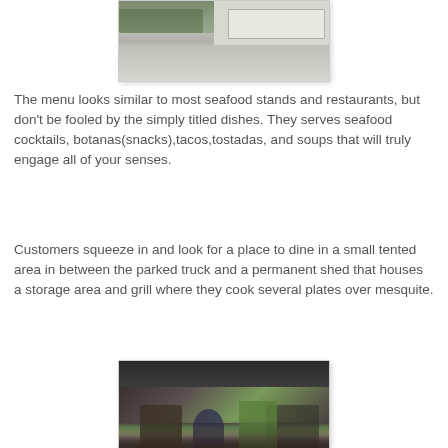[Figure (photo): Outdoor photo showing a driveway/street scene with a parked white truck visible at top, with grass and pavement visible.]
The menu looks similar to most seafood stands and restaurants, but don't be fooled by the simply titled dishes. They serves seafood cocktails, botanas(snacks),tacos,tostadas, and soups that will truly engage all of your senses.
Customers squeeze in and look for a place to dine in a small tented area in between the parked truck and a permanent shed that houses a storage area and grill where they cook several plates over mesquite.
[Figure (photo): Interior photo of a dark tented dining area with a view looking toward the outside, with a palm tree visible and silhouettes of people seated.]